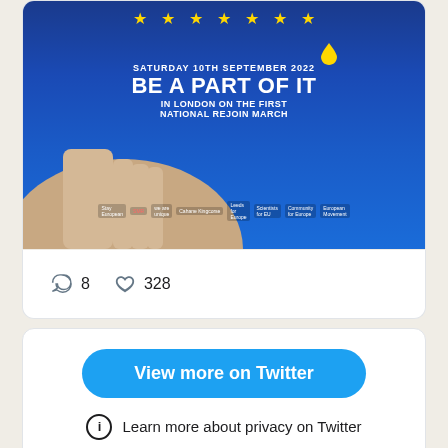[Figure (photo): A hand holding a blue EU-themed bag/flyer with text: SATURDAY 10TH SEPTEMBER 2022, BE A PART OF IT, IN LONDON ON THE FIRST NATIONAL REJOIN MARCH. Various pro-EU organization logos visible at bottom including Stay European, SMR, we are unique, Cahane Kingcorse, Leeds for Europe, Scientists for EU, Community for Europe, European Movement.]
8  328
View more on Twitter
Learn more about privacy on Twitter